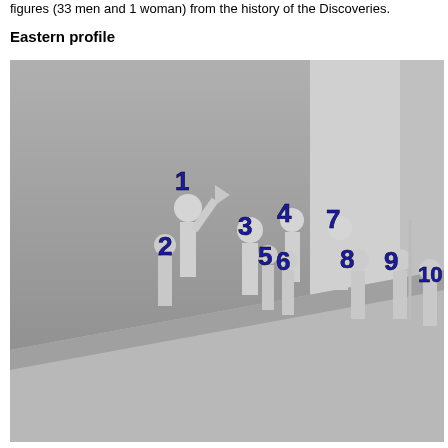figures (33 men and 1 woman) from the history of the Discoveries.
Eastern profile
[Figure (photo): Eastern profile of the Monument to the Discoveries (Padrão dos Descobrimentos) in Lisbon, showing sculptural figures numbered 1 through 10 in blue superimposed on the photograph. The figures are stone sculptures of historical Portuguese explorers and navigators arranged along the sloping sides of the monument.]